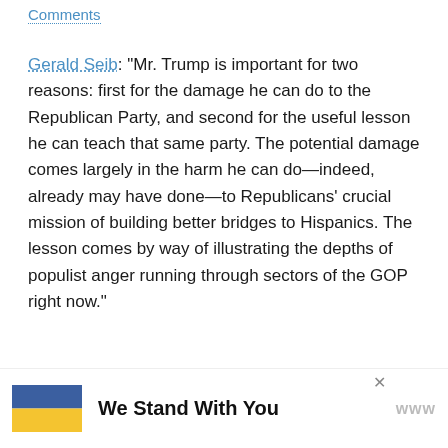Comments
Gerald Seib: "Mr. Trump is important for two reasons: first for the damage he can do to the Republican Party, and second for the useful lesson he can teach that same party. The potential damage comes largely in the harm he can do—indeed, already may have done—to Republicans' crucial mission of building better bridges to Hispanics. The lesson comes by way of illustrating the depths of populist anger running through sectors of the GOP right now."
Filed Under: 2016 Campaign
Tagged With: Donald Trump
[Figure (infographic): Blue and yellow Ukraine flag with text 'We Stand With You' and a close button and brand logo]
[Figure (other): Heart (favorite) button, red circle, and share button with count 1]